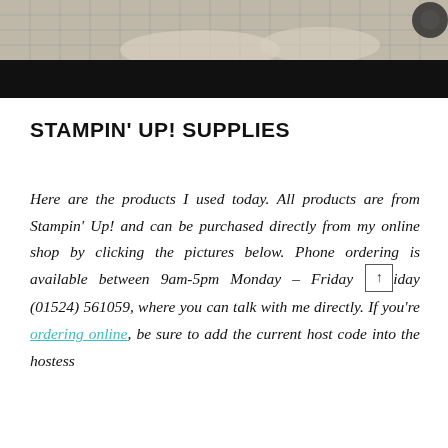[Figure (photo): Top portion of a crafting/stamping video thumbnail showing hands working on paper with a grid background, with a black bar at the bottom]
STAMPIN' UP! SUPPLIES
Here are the products I used today. All products are from Stampin' Up! and can be purchased directly from my online shop by clicking the pictures below. Phone ordering is available between 9am-5pm Monday – Friday (01524) 561059, where you can talk with me directly. If you're ordering online, be sure to add the current host code into the hostess